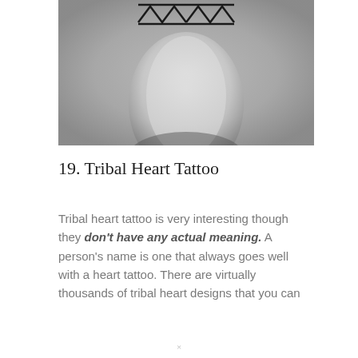[Figure (photo): Black and white photograph of a wrist/forearm with a tribal heart tattoo design featuring zigzag/chevron pattern at the top]
19. Tribal Heart Tattoo
Tribal heart tattoo is very interesting though they don't have any actual meaning. A person's name is one that always goes well with a heart tattoo. There are virtually thousands of tribal heart designs that you can
×